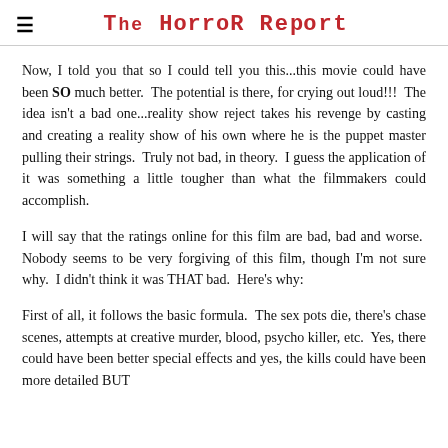The Horror Report
Now, I told you that so I could tell you this...this movie could have been SO much better.  The potential is there, for crying out loud!!!  The idea isn't a bad one...reality show reject takes his revenge by casting and creating a reality show of his own where he is the puppet master pulling their strings.  Truly not bad, in theory.  I guess the application of it was something a little tougher than what the filmmakers could accomplish.
I will say that the ratings online for this film are bad, bad and worse.  Nobody seems to be very forgiving of this film, though I'm not sure why.  I didn't think it was THAT bad.  Here's why:
First of all, it follows the basic formula.  The sex pots die, there's chase scenes, attempts at creative murder, blood, psycho killer, etc.  Yes, there could have been better special effects and yes, the kills could have been more detailed BUT